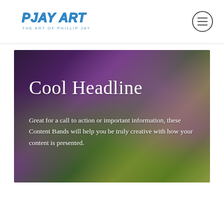[Figure (logo): PJAY ART logo with text 'THE ART OF PHILLIP JAY' below in blue/teal colors]
[Figure (other): Hamburger menu button (three horizontal lines) inside a circular border]
[Figure (photo): Hero content band with blurred background photo showing yellow flowers and purple/pink bokeh lights. Contains headline text 'Cool Headline' and descriptive paragraph text in white.]
Cool Headline
Great for a call to action or important information, these Content Bands will help you be truly creative with how your content is presented.